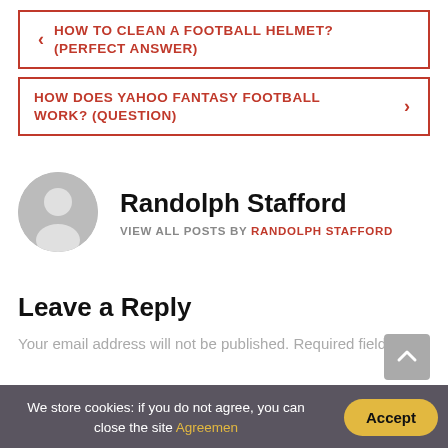< HOW TO CLEAN A FOOTBALL HELMET? (PERFECT ANSWER)
HOW DOES YAHOO FANTASY FOOTBALL WORK? (QUESTION) >
Randolph Stafford
VIEW ALL POSTS BY RANDOLPH STAFFORD
Leave a Reply
Your email address will not be published. Required fields are
We store cookies: if you do not agree, you can close the site Agreemen
Accept